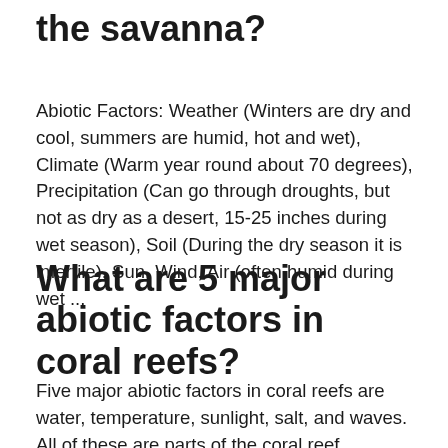the savanna?
Abiotic Factors: Weather (Winters are dry and cool, summers are humid, hot and wet), Climate (Warm year round about 70 degrees), Precipitation (Can go through droughts, but not as dry as a desert, 15-25 inches during wet season), Soil (During the dry season it is infertile), Sun, Wind, Air (often humid during wet ...
What are 5 major abiotic factors in coral reefs?
Five major abiotic factors in coral reefs are water, temperature, sunlight, salt, and waves. All of these are parts of the coral reef